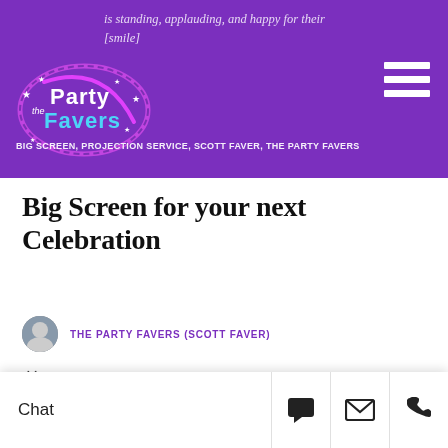is standing, applauding, and happy for their [smile]
[Figure (logo): The Party Favers logo — colorful stylized text with stars and a circular swoosh element]
BIG SCREEN, PROJECTION SERVICE, SCOTT FAVER, THE PARTY FAVERS
Big Screen for your next Celebration
THE PARTY FAVERS (SCOTT FAVER)
APRIL 30, 2017
[Figure (photo): Dark interior photo showing ceiling rafters and a partial view of a large screen setup]
Chat